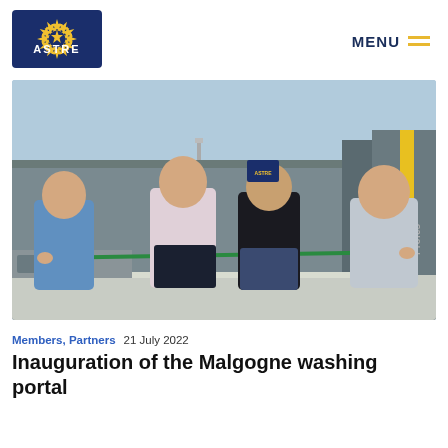[Figure (logo): ASTRE logo: blue circle with yellow stars around the edge and 'ASTRE' text in the center with a star, on dark blue background]
MENU
[Figure (photo): Four men standing outdoors in front of an industrial building with a KÄRCHER Professional sign/machine, holding a green ribbon as if cutting it for an inauguration ceremony. The man on the left wears a blue shirt, second wears a light pink/white shirt, third wears a black shirt, and fourth wears a light blue/grey shirt. An ASTRE logo flag is visible in the background.]
Members, Partners  21 July 2022
Inauguration of the Malgogne washing portal